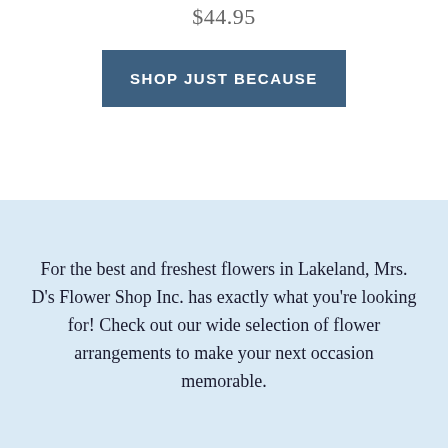$44.95
SHOP JUST BECAUSE
For the best and freshest flowers in Lakeland, Mrs. D's Flower Shop Inc. has exactly what you're looking for! Check out our wide selection of flower arrangements to make your next occasion memorable.